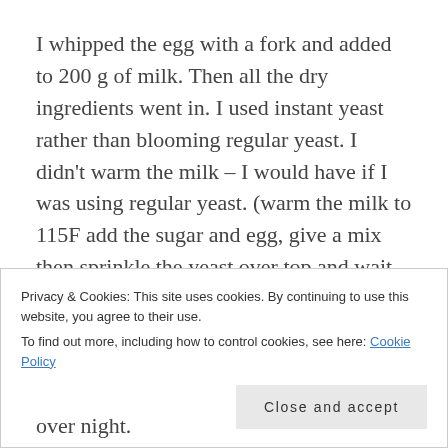I whipped the egg with a fork and added to 200 g of milk. Then all the dry ingredients went in. I used instant yeast rather than blooming regular yeast. I didn't warm the milk – I would have if I was using regular yeast. (warm the milk to 115F add the sugar and egg, give a mix then sprinkle the yeast over top and wait for it to bloom – get bubbly.)
I used my stand mixer with the dough hook. When it mixed it was just like pancake batter. This was never going to be a bread dough. So I added an other cup (almost) of flour and added it in slow additions until the dough was
Privacy & Cookies: This site uses cookies. By continuing to use this website, you agree to their use.
To find out more, including how to control cookies, see here: Cookie Policy
Close and accept
over night.